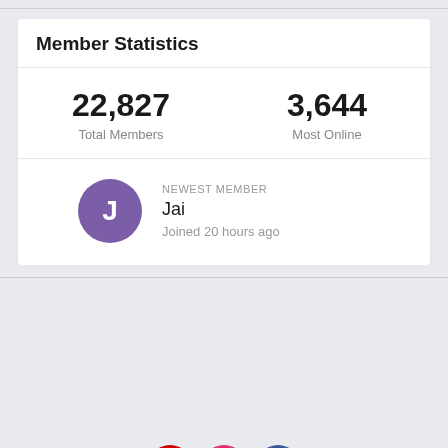Member Statistics
22,827 Total Members
3,644 Most Online
NEWEST MEMBER
Jai
Joined 20 hours ago
[Figure (illustration): Social media icons: YouTube, Instagram, Facebook]